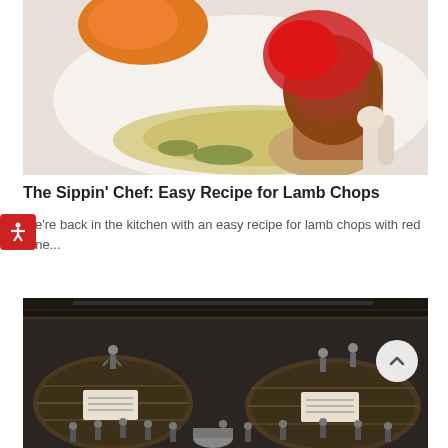[Figure (photo): Close-up food photography of lamb chops with red sauce on a white plate with grains/couscous]
The Sippin' Chef: Easy Recipe for Lamb Chops
We're back in the kitchen with an easy recipe for lamb chops with red wine...
[Figure (photo): Black and white historical photograph of a group of men in suits posing on large wine barrels in a winery cellar]